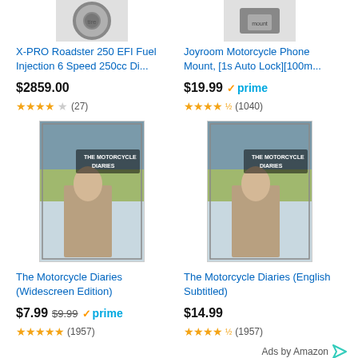[Figure (photo): Partial image of motorcycle wheel/tire at top left]
[Figure (photo): Partial image of motorcycle phone mount at top right]
X-PRO Roadster 250 EFI Fuel Injection 6 Speed 250cc Di...
Joyroom Motorcycle Phone Mount, [1s Auto Lock][100m...
$2859.00
$19.99 prime
★★★★☆ (27)
★★★★½ (1040)
[Figure (photo): DVD cover of The Motorcycle Diaries (Widescreen Edition)]
[Figure (photo): DVD cover of The Motorcycle Diaries (English Subtitled)]
The Motorcycle Diaries (Widescreen Edition)
The Motorcycle Diaries (English Subtitled)
$7.99  $9.99  prime
$14.99
★★★★★ (1957)
★★★★½ (1957)
Ads by Amazon
Fiction Friday #156 – Failed Sunrise
Fiction Friday #149 – Dire Consequences